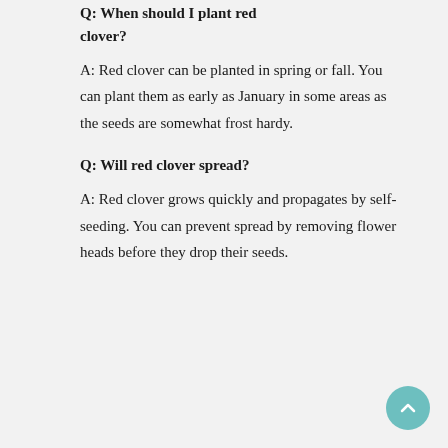Q: When should I plant red clover?
A: Red clover can be planted in spring or fall. You can plant them as early as January in some areas as the seeds are somewhat frost hardy.
Q: Will red clover spread?
A: Red clover grows quickly and propagates by self-seeding. You can prevent spread by removing flower heads before they drop their seeds.